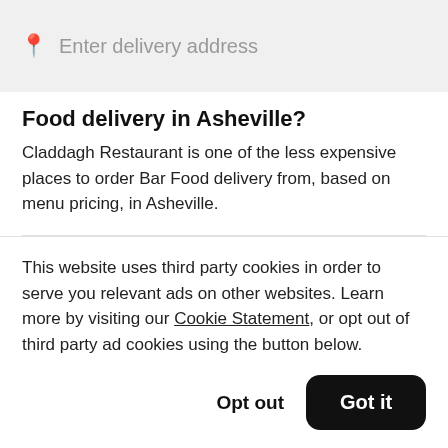[Figure (screenshot): Search bar with location pin icon and placeholder text 'Enter delivery address' on a grey background]
Food delivery in Asheville?
Claddagh Restaurant is one of the less expensive places to order Bar Food delivery from, based on menu pricing, in Asheville.
Are there places for Bar Food delivery open
This website uses third party cookies in order to serve you relevant ads on other websites. Learn more by visiting our Cookie Statement, or opt out of third party ad cookies using the button below.